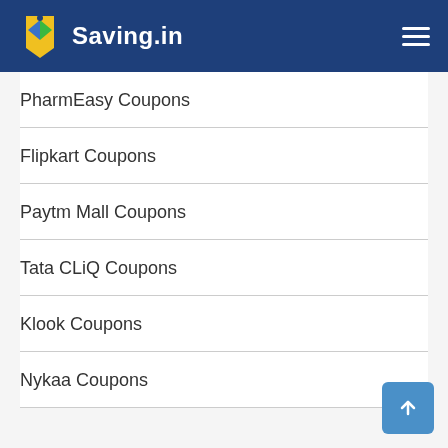Saving.in
PharmEasy Coupons
Flipkart Coupons
Paytm Mall Coupons
Tata CLiQ Coupons
Klook Coupons
Nykaa Coupons